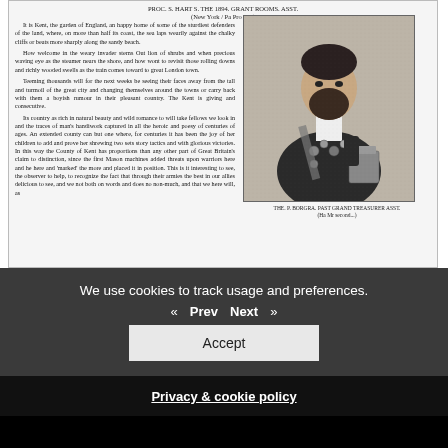PROC. S. HART S. THE 1894. GRANT ROOMS. ASST. (New York / Pa Pro Alg)
It is Kent, the garden of England, an happy home of some of the sturdiest defenders of the land, where, on more than half its coast, the sea laps wearily against the chalky cliffs or beats more sharply along the sandy beach. How welcome in the weary invader sterns Out lion of shrubs and when precious waving eye as the steamer nears the shore, and how wont to revisit those rolling downs and richly wooded swells as the train comes toward to great London town. Teeming thousands will for the next weeks be seeing their faces away from the tall and turmoil of the great city and changing themselves around the towns or carry back with them a boyish rumour in their pleasant country. The Kent is giving and consecutive. Its country as rich in natural beauty and wild romance to will take fellows we look in and the traces of man's handiwork captured in all the heroic and poesy of centuries of ages. No country can be but one where, for centuries it has been the joy of her children to add and prove her shrewing two sets story tactics and with glorious victories. In this way the County of Kent has proportions than any other part of Great Britain's claim to distinction, since the first Mason machines added threats upon warriors here and he here and 'marked' the more and placed it in position. This is it interesting to see, the observer to help, to recognize the fact that through their armies the best in our allies delicious to see, and we not both on words and does no non-much, and that we here will, as
[Figure (photo): Black and white portrait photograph of a bearded man in formal attire with medals and regalia, standing with a bag or case.]
THE. P. BORGRA. PAST GRAND TREASURER ASST. (Ha Mr second...)
be worse in every along, how enter their separate life and joins friends with some more progressive body of both of One Fling, our one only, was different, and although he venture was modest yet still he reckoned it the neatest in broad range.
We use cookies to track usage and preferences.
« Prev   Next »
Accept
Privacy & cookie policy